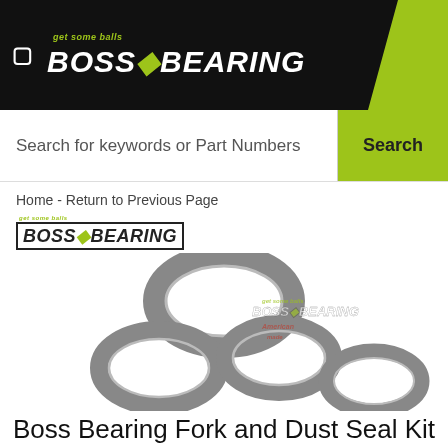get some balls BOSS BEARING
Search for keywords or Part Numbers
Search
Home - Return to Previous Page
[Figure (logo): Boss Bearing logo with tagline 'get some balls']
[Figure (photo): Four grey rubber fork and dust seals arranged in a cluster, with Boss Bearing watermark logo overlay]
Boss Bearing Fork and Dust Seal Kit